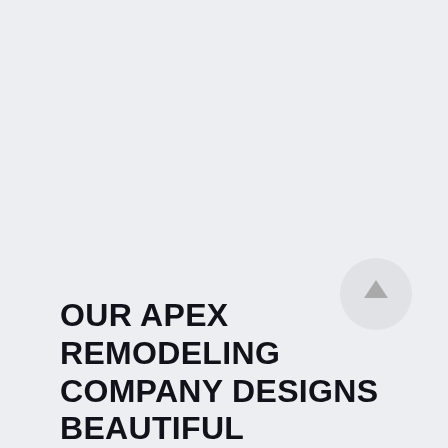[Figure (other): Circular scroll-to-top button with an upward arrow, light gray background circle with dark gray arrow icon]
OUR APEX REMODELING COMPANY DESIGNS BEAUTIFUL